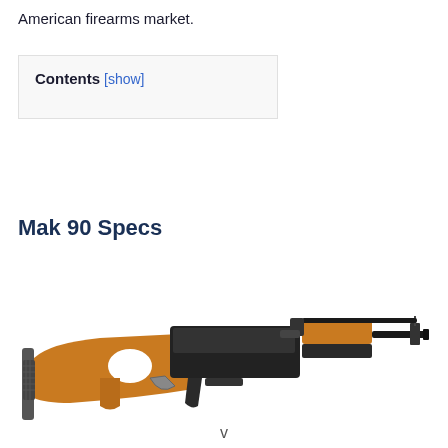American firearms market.
Contents [show]
Mak 90 Specs
[Figure (photo): Photo of a Mak 90 rifle with orange/brown wooden stock and black metal components, shown in profile view from left side.]
v